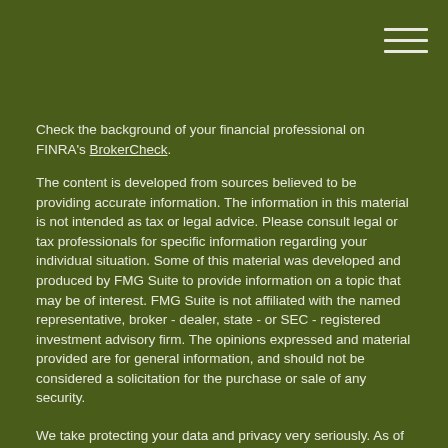Check the background of your financial professional on FINRA's BrokerCheck.
The content is developed from sources believed to be providing accurate information. The information in this material is not intended as tax or legal advice. Please consult legal or tax professionals for specific information regarding your individual situation. Some of this material was developed and produced by FMG Suite to provide information on a topic that may be of interest. FMG Suite is not affiliated with the named representative, broker - dealer, state - or SEC - registered investment advisory firm. The opinions expressed and material provided are for general information, and should not be considered a solicitation for the purchase or sale of any security.
We take protecting your data and privacy very seriously. As of January 1, 2020 the California Consumer Privacy Act (CCPA) suggests the following link as an extra measure to safeguard your data: Do not sell my personal information.
Copyright 2022 FMG Suite.
Securities and advisory services offered through Cetera Advisors LLC, member FINRA, SIPC, a broker/dealer and a registered investment adviser. Cetera is under separate ownership from any other named entity.
This site is published for residents of the United States only. Registered Representatives of Cetera Advisors LLC may only conduct business with residents of the states and/or jurisdictions in which they are properly registered. Not all of the